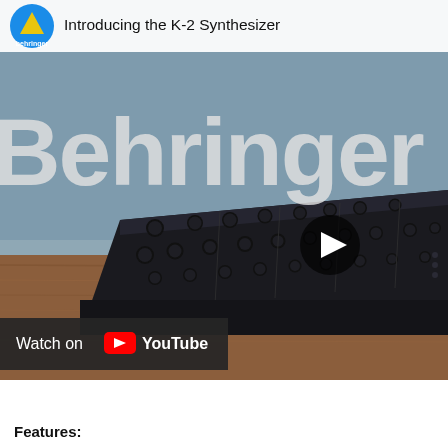[Figure (screenshot): YouTube video thumbnail for Behringer K-2 Synthesizer introduction video. Shows a Behringer synthesizer module on a wooden table, with large 'Behringer' text overlay, a play button, Behringer logo and title in top bar, and 'Watch on YouTube' bar at bottom.]
Introducing the K-2 Synthesizer
Features: